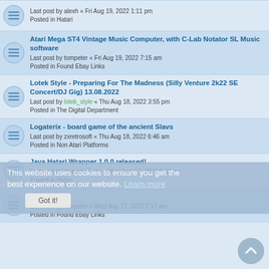Last post by alexh « Fri Aug 19, 2022 1:11 pm
Posted in Hatari
Atari Mega ST4 Vintage Music Computer, with C-Lab Notator SL Music software
Last post by tompeter « Fri Aug 19, 2022 7:15 am
Posted in Found Ebay Links
Lotek Style - Preparing For The Madness (Silly Venture 2k22 SE Concert/DJ Gig) 13.08.2022
Last post by lotek_style « Thu Aug 18, 2022 3:55 pm
Posted in The Digital Department
Logaterix - board game of the ancient Slavs
Last post by zxretrosoft « Thu Aug 18, 2022 6:46 am
Posted in Non Atari Platforms
Java Hatari Wrapper 1.0.0 released!
Last post by marcelschoen « Wed Aug 17, 2022 9:33 pm
Posted in Hatari
Atari Falcon
Last post by tompeter « Wed Aug 17, 2022 7:17 am
Posted in Found Ebay Links
Rev. F Motherboard with strange mod
Last post by mlynn1974 « Tue Aug 16, 2022 8:33 pm
Posted in Found Ebay Links
Atari 800XL 64K Vintage Computer Bundle
Last post by tompeter « Mon Aug 15, 2022 7:19 am
Posted in Found Ebay Links
Star Wars The Empire Strikes Back Wanted